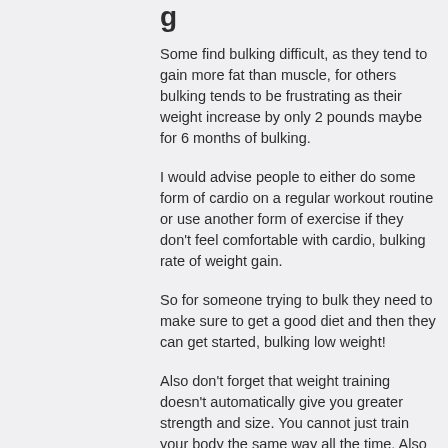g
Some find bulking difficult, as they tend to gain more fat than muscle, for others bulking tends to be frustrating as their weight increase by only 2 pounds maybe for 6 months of bulking.
I would advise people to either do some form of cardio on a regular workout routine or use another form of exercise if they don't feel comfortable with cardio, bulking rate of weight gain.
So for someone trying to bulk they need to make sure to get a good diet and then they can get started, bulking low weight!
Also don't forget that weight training doesn't automatically give you greater strength and size. You cannot just train your body the same way all the time. Also there's a lot of different types of movements you can do,